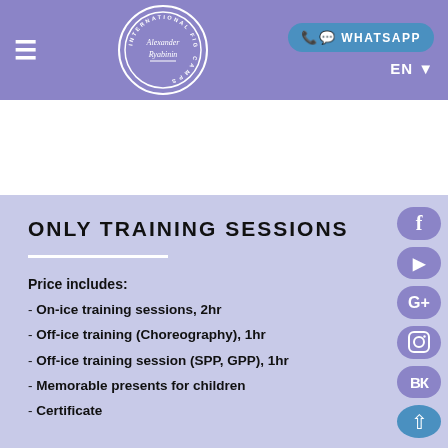Alexander Ryabinin International Figure Skating Camps — Navigation bar with WHATSAPP button and EN language selector
ONLY TRAINING SESSIONS
Price includes:
- On-ice training sessions, 2hr
- Off-ice training (Choreography), 1hr
- Off-ice training session (SPP, GPP), 1hr
- Memorable presents for children
- Certificate